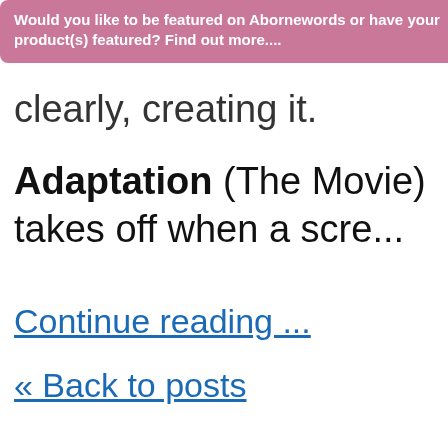Would you like to be featured on Abornewords or have your product(s) featured? Find out more....
clearly, creating it.
Adaptation (The Movie) takes off when a scre...
Continue reading ...
« Back to posts